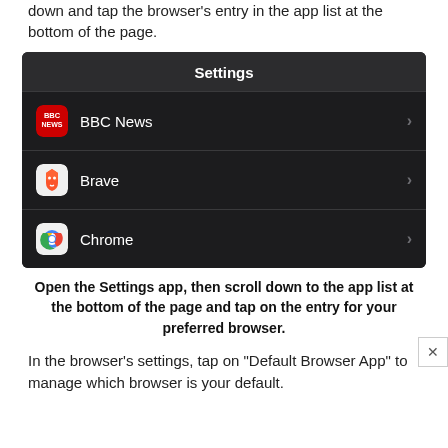down and tap the browser's entry in the app list at the bottom of the page.
[Figure (screenshot): iOS Settings app screen showing a list of apps: BBC News, Brave, and Chrome with chevrons on the right side.]
Open the Settings app, then scroll down to the app list at the bottom of the page and tap on the entry for your preferred browser.
In the browser's settings, tap on “Default Browser App” to manage which browser is your default.